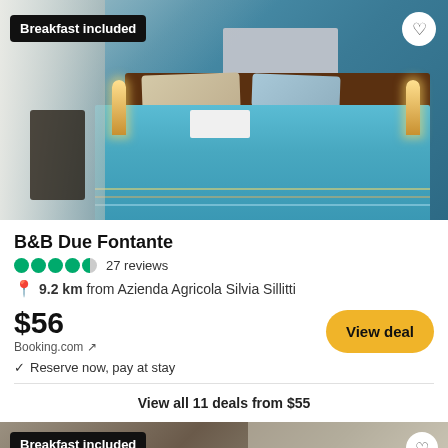[Figure (photo): Hotel room photo showing a double bed with blue and striped bedding, teal/blue walls, wall art, two bedside lamps, and a chair/desk area. 'Breakfast included' badge in upper left, heart/save button in upper right.]
B&B Due Fontante
●●●●◐ 27 reviews
9.2 km from Azienda Agricola Silvia Sillitti
$56
Booking.com ↗
✓ Reserve now, pay at stay
View all 11 deals from $55
[Figure (photo): Partial view of a second hotel listing photo showing a room interior. 'Breakfast included' badge in upper left, heart/save button in upper right.]